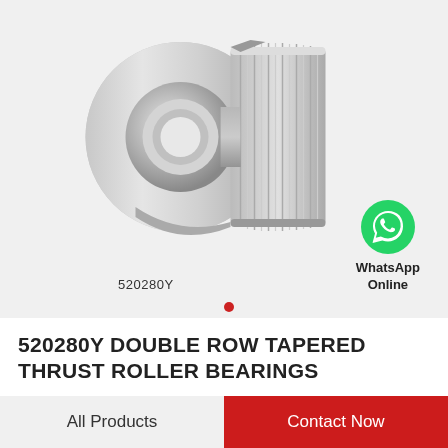[Figure (photo): 520280Y double row tapered thrust roller bearing product photo on light gray background]
520280Y
[Figure (logo): WhatsApp green phone icon with text WhatsApp Online]
520280Y DOUBLE ROW TAPERED THRUST ROLLER BEARINGS
All Products
Contact Now